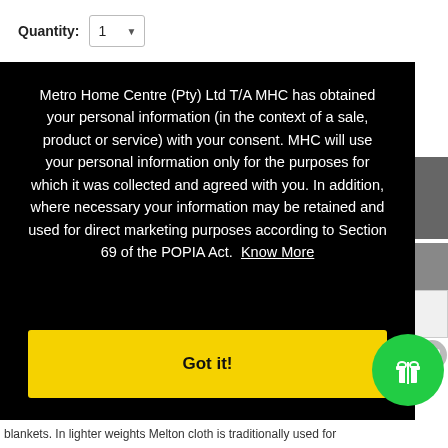Quantity: 1
Metro Home Centre (Pty) Ltd T/A MHC has obtained your personal information (in the context of a sale, product or service) with your consent. MHC will use your personal information only for the purposes for which it was collected and agreed with you. In addition, where necessary your information may be retained and used for direct marketing purposes according to Section 69 of the POPIA Act. Know More
Got it!
blankets. In lighter weights Melton cloth is traditionally used for